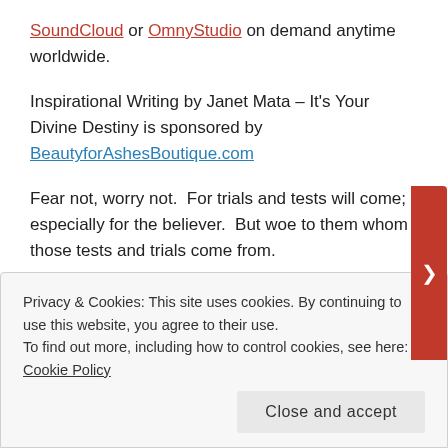SoundCloud or OmnyStudio on demand anytime worldwide.
Inspirational Writing by Janet Mata – It's Your Divine Destiny is sponsored by BeautyforAshesBoutique.com
Fear not, worry not.  For trials and tests will come; especially for the believer.  But woe to them whom those tests and trials come from.
Therefore, PRAY, SEEK, KNOCK and the doors shall be opened even unto you.
For you shall NOT be a sitting duck for the enemy of your soul.  You shall rise above the situation and circumstance and you shall stand in righteousness and holiness.  For this is NOT the end.  No.  For does
Privacy & Cookies: This site uses cookies. By continuing to use this website, you agree to their use.
To find out more, including how to control cookies, see here: Cookie Policy
Close and accept